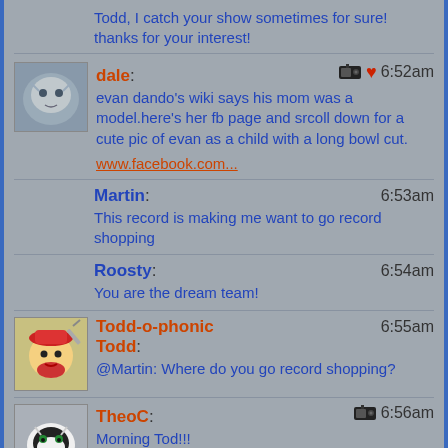Todd, I catch your show sometimes for sure! thanks for your interest!
dale: [radio icon] [heart] 6:52am
evan dando's wiki says his mom was a model.here's her fb page and srcoll down for a cute pic of evan as a child with a long bowl cut.
www.facebook.com...
Martin: 6:53am
This record is making me want to go record shopping
Roosty: 6:54am
You are the dream team!
Todd-o-phonic Todd: 6:55am
@Martin: Where do you go record shopping?
TheoC: [radio icon] 6:56am
Morning Tod!!!
Tinley Park Randy: 6:56am
Good morning from Chicago Todd!